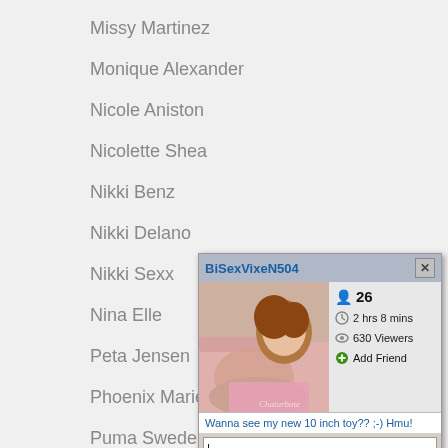Missy Martinez
Monique Alexander
Nicole Aniston
Nicolette Shea
Nikki Benz
Nikki Delano
Nikki Sexx
Nina Elle
Peta Jensen
Phoenix Marie
Puma Swede
Rachel RoXXX
Rachel Starr
[Figure (screenshot): Chat popup window for user BiSexVixeN504 showing a webcam image, user stats (26, 2 hrs 8 mins, 630 Viewers, Add Friend), a message 'Wanna see my new 10 inch toy?? ;-) Hmu!', a text input field, and buttons JOIN LIVE CHAT and SEND MESSAGE]